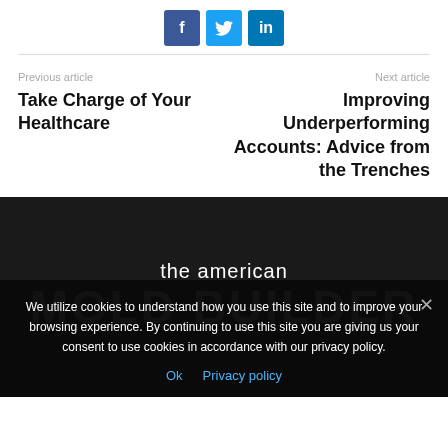[Figure (other): Social share buttons: Facebook (f), Twitter bird icon, LinkedIn (in)]
Previous article
Take Charge of Your Healthcare
Next article
Improving Underperforming Accounts: Advice from the Trenches
[Figure (logo): The American Mold Builder logo — white text on dark background]
We utilize cookies to understand how you use this site and to improve your browsing experience. By continuing to use this site you are giving us your consent to use cookies in accordance with our privacy policy.
Ok   Privacy policy